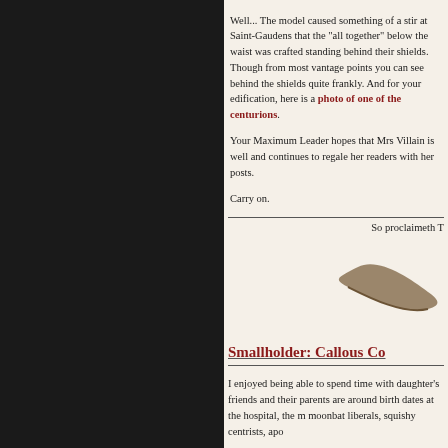Well... The model caused something of a stir at Saint-Gaudens that the "all together" below the waist was crafted standing behind their shields. Though from most vantage points you can see behind the shields quite frankly. And for your edification, here is a photo of one of the centurions.
Your Maximum Leader hopes that Mrs Villain is well and continues to regale her readers with her posts.
Carry on.
So proclaimeth T
[Figure (illustration): A partial signature or stylized swoosh mark in dark brownish-grey color]
Smallholder: Callous Co
I enjoyed being able to spend time with daughter's friends and their parents are around birth dates at the hospital, the m moonbat liberals, squishy centrists, apo